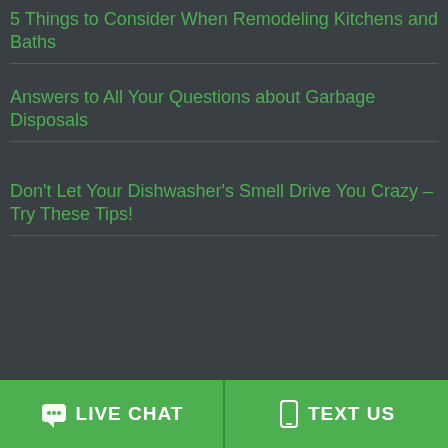5 Things to Consider When Remodeling Kitchens and Baths
Answers to All Your Questions about Garbage Disposals
Don't Let Your Dishwasher's Smell Drive You Crazy – Try These Tips!
We use cookies on our website to give you the most relevant experience by remembering your preferences and repeat visits. By clicking "Accept All", you consent to the use of ALL the cookies. However, you may visit "Cookie Settings" to provide a controlled consent.
Settings
Accept All
Online Agent
ny kitchen
fessional
LIVE CHAT   TEXT US